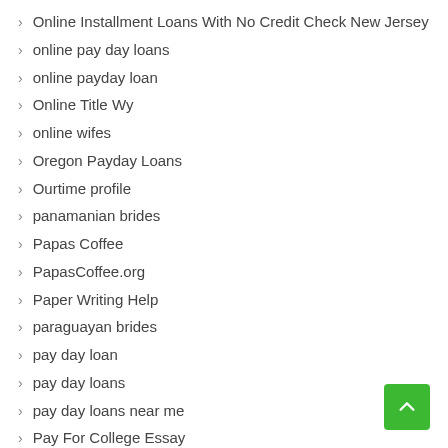Online Installment Loans With No Credit Check New Jersey
online pay day loans
online payday loan
Online Title Wy
online wifes
Oregon Payday Loans
Ourtime profile
panamanian brides
Papas Coffee
PapasCoffee.org
Paper Writing Help
paraguayan brides
pay day loan
pay day loans
pay day loans near me
Pay For College Essay
Pay For Research Paper